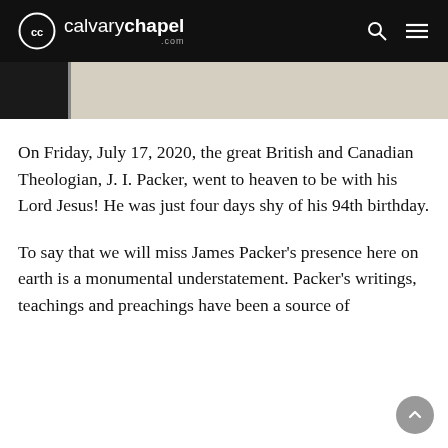calvarychapel.com
[Figure (photo): Partial image of a person, cropped at the top of the page, with beige/tan background and a dark vertical strip on the left.]
On Friday, July 17, 2020, the great British and Canadian Theologian, J. I. Packer, went to heaven to be with his Lord Jesus! He was just four days shy of his 94th birthday.
To say that we will miss James Packer's presence here on earth is a monumental understatement. Packer's writings, teachings and preachings have been a source of